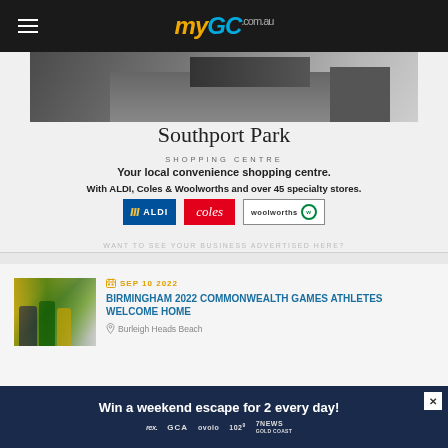myGC.com.au
[Figure (photo): Southport Park Shopping Centre building exterior photo]
Southport Park
SHOPPING CENTRE
Your local convenience shopping centre.
With ALDI, Coles & Woolworths and over 45 specialty stores.
[Figure (logo): ALDI, Coles and Woolworths store logos]
WANT TO SEE YOUR BUSINESS ADVERTISED HERE?
[Figure (photo): Birmingham 2022 Commonwealth Games athletes in green and gold uniforms]
SEP 10 2022
BIRMINGHAM 2022 COMMONWEALTH GAMES ATHLETES WELCOME HOME
Burleigh Heads Beach
[Figure (infographic): Win a weekend escape for 2 every day! banner with REX, GCA, Ovolo, 102.9 Gold, 7NEWS Gold Coast logos]